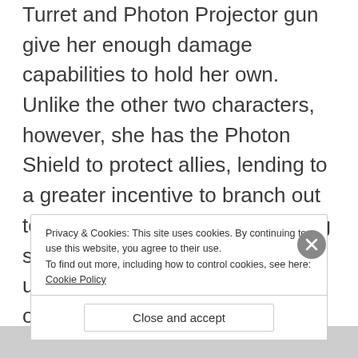Turret and Photon Projector gun give her enough damage capabilities to hold her own. Unlike the other two characters, however, she has the Photon Shield to protect allies, lending to a greater incentive to branch out to her team rather than remaining stationary. The Sentry Turret is, unlike Torbjorn's Turret, focused on reducing speed rather than dealing high damage.
Privacy & Cookies: This site uses cookies. By continuing to use this website, you agree to their use.
To find out more, including how to control cookies, see here: Cookie Policy
Close and accept